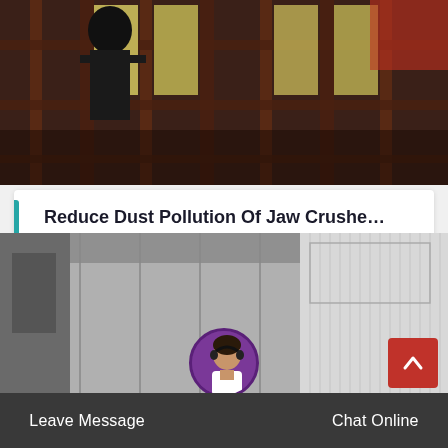[Figure (photo): A worker on industrial scaffolding/framework structure with yellow panels or tarps, dark metal frame, industrial setting]
Reduce Dust Pollution Of Jaw Crushe…
Reduce dust pollution of jaw crusher 20201028 104836 as the first crushing equipment for ore mini…
[Figure (photo): Industrial building exterior / warehouse with grey corrugated walls; partially visible machinery on right side]
Leave Message
Chat Online